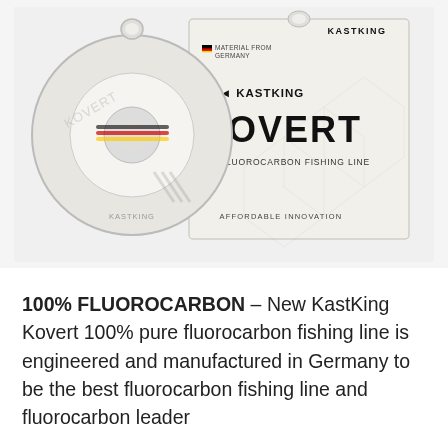[Figure (photo): Product photo of KastKing Kovert 100% Fluorocarbon Fishing Line — a clear plastic spool/reel of line on the left and the product packaging box on the right. The box reads: KASTKING, KOVERT, 100% Fluorocarbon Fishing Line, Affordable Innovation, Material From Germany (with German flag icon).]
100% FLUOROCARBON – New KastKing Kovert 100% pure fluorocarbon fishing line is engineered and manufactured in Germany to be the best fluorocarbon fishing line and fluorocarbon leader